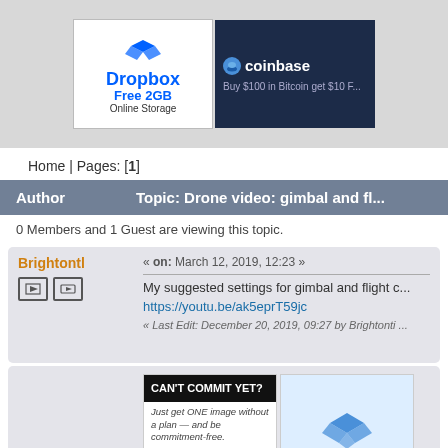[Figure (screenshot): Top banner area with Dropbox and Coinbase advertisement banners]
Home | Pages: [1]
| Author | Topic: Drone video: gimbal and fl... |
| --- | --- |
0 Members and 1 Guest are viewing this topic.
Brightontl
« on: March 12, 2019, 12:23 »
My suggested settings for gimbal and flight c...
https://youtu.be/ak5eprT59jc
« Last Edit: December 20, 2019, 09:27 by Brightonti ...
[Figure (screenshot): Two advertisement banners: 'CAN'T COMMIT YET? Just get ONE image without a plan — and be commitment-free. BUY NOW' with a pug dog image, and a Dropbox 'Free 2GB Online Storage' ad]